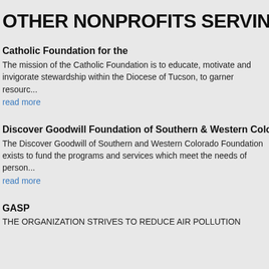OTHER NONPROFITS SERVING
Catholic Foundation for the
The mission of the Catholic Foundation is to educate, motivate and invigorate stewardship within the Diocese of Tucson, to garner resourc...
read more
Discover Goodwill Foundation of Southern & Western Colorado
The Discover Goodwill of Southern and Western Colorado Foundation exists to fund the programs and services which meet the needs of person...
read more
GASP
THE ORGANIZATION STRIVES TO REDUCE AIR POLLUTION